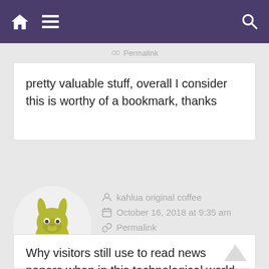Home | Menu | Search
Permalink
pretty valuable stuff, overall I consider this is worthy of a bookmark, thanks
[Figure (illustration): Avatar of a cartoon kangaroo-like character in olive/yellow color on a white circular background]
kahlua original coffee
October 16, 2018 at 9:35 am
Permalink
Why visitors still use to read news papers when in this technological world everything is accessible on net?